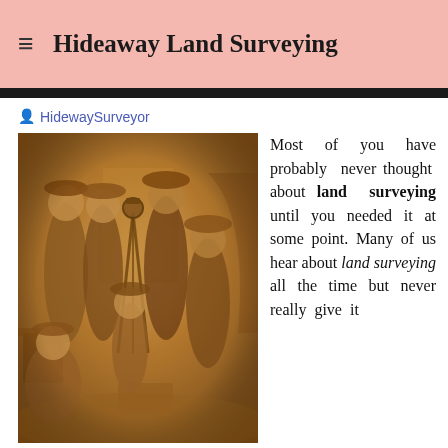Hideaway Land Surveying
HidewaySurveyor
[Figure (photo): Sepia-toned historical photograph of six men, likely land surveyors, posing with surveying equipment including a tripod instrument. Men are dressed in 19th century work clothing and hats.]
Most of you have probably never thought about land surveying until you needed it at some point. Many of us hear about land surveying all the time but never really give it much thought.